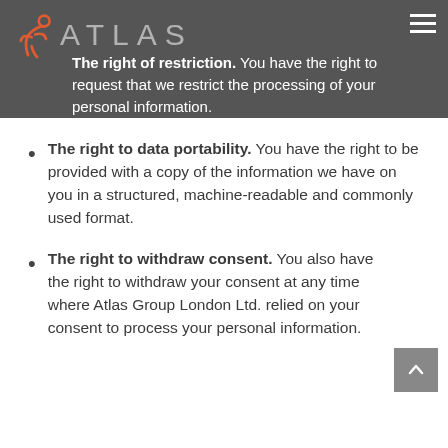ATLAS
The right of restriction. You have the right to request that we restrict the processing of your personal information.
The right to data portability. You have the right to be provided with a copy of the information we have on you in a structured, machine-readable and commonly used format.
The right to withdraw consent. You also have the right to withdraw your consent at any time where Atlas Group London Ltd. relied on your consent to process your personal information.